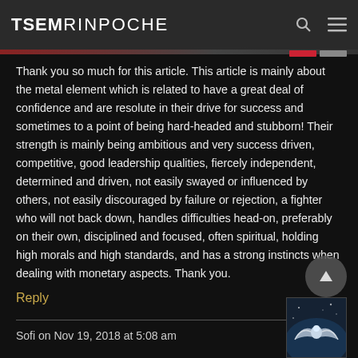TSEMRINPOCHE
Thank you so much for this article. This article is mainly about the metal element which is related to have a great deal of confidence and are resolute in their drive for success and sometimes to a point of being hard-headed and stubborn! Their strength is mainly being ambitious and very success driven, competitive, good leadership qualities, fiercely independent, determined and driven, not easily swayed or influenced by others, not easily discouraged by failure or rejection, a fighter who will not back down, handles difficulties head-on, preferably on their own, disciplined and focused, often spiritual, holding high morals and high standards, and has a strong instincts when dealing with monetary aspects. Thank you.
Reply
Sofi on Nov 19, 2018 at 5:08 am